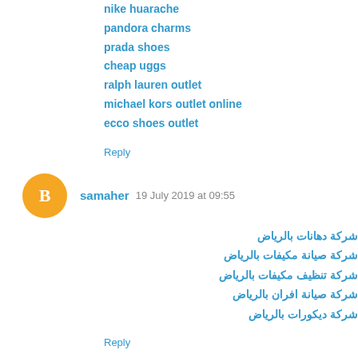nike huarache
pandora charms
prada shoes
cheap uggs
ralph lauren outlet
michael kors outlet online
ecco shoes outlet
Reply
samaher  19 July 2019 at 09:55
شركة دهانات بالرياض
شركة صيانة مكيفات بالرياض
شركة تنظيف مكيفات بالرياض
شركة صيانة افران بالرياض
شركة ديكورات بالرياض
Reply
25 August 2019 at 08:00